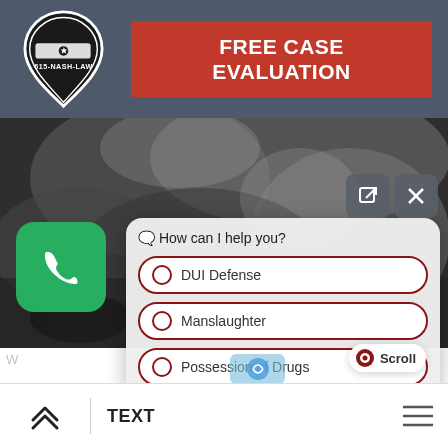[Figure (logo): 615-NASH-LAW guitar pick shaped logo with Tennessee state outline and star, black and white]
FREE CASE EVALUATION
[Figure (photo): Black and white photo of person smoking, blurred background]
[Figure (screenshot): Chatbot overlay with question 'How can I help you?' and options: DUI Defense, Manslaughter, Possession of Drugs, with Scroll badge]
TEXT
[Figure (other): Bottom navigation bar with home icon, TEXT label, and hamburger menu]